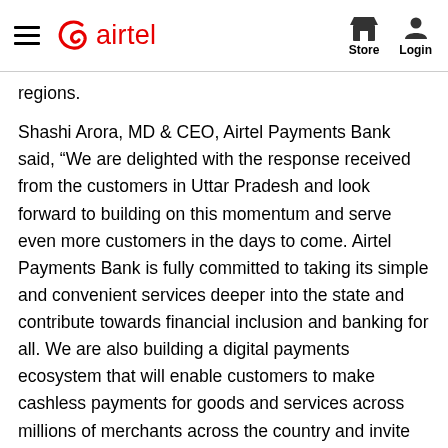airtel — Store | Login
regions.
Shashi Arora, MD & CEO, Airtel Payments Bank said, “We are delighted with the response received from the customers in Uttar Pradesh and look forward to building on this momentum and serve even more customers in the days to come. Airtel Payments Bank is fully committed to taking its simple and convenient services deeper into the state and contribute towards financial inclusion and banking for all. We are also building a digital payments ecosystem that will enable customers to make cashless payments for goods and services across millions of merchants across the country and invite merchants across Uttar Pradesh to be a part of this ecosystem.”
Airtel payments Bank’s bouquet of innovative and